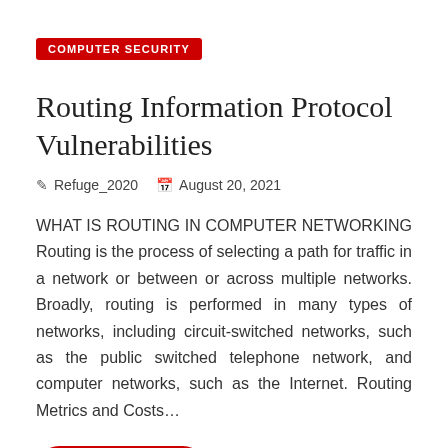COMPUTER SECURITY
Routing Information Protocol Vulnerabilities
Refuge_2020   August 20, 2021
WHAT IS ROUTING IN COMPUTER NETWORKING Routing is the process of selecting a path for traffic in a network or between or across multiple networks. Broadly, routing is performed in many types of networks, including circuit-switched networks, such as the public switched telephone network, and computer networks, such as the Internet. Routing Metrics and Costs…
Read More >